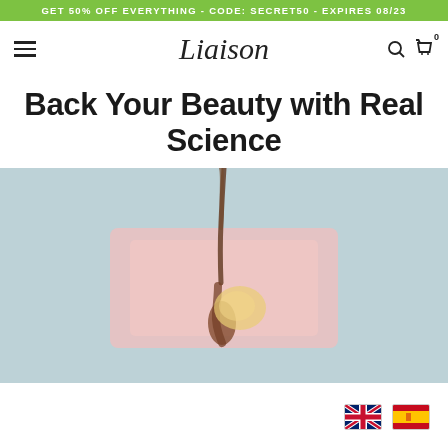GET 50% OFF EVERYTHING - CODE: SECRET50 - EXPIRES 08/23
Liaison
Back Your Beauty with Real Science
[Figure (illustration): Blurred cross-section illustration of human skin showing a hair follicle with a yellowish sebaceous gland, set against a light blue background with a pink skin layer in the center.]